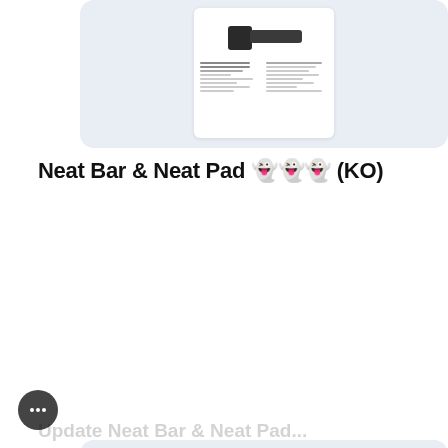[Figure (screenshot): Top card showing a document/brochure preview of Neat Bar product with device image and text columns on light blue background]
Neat Bar & Neat Pad 👻👻👻 (KO)
[Figure (screenshot): Bottom card showing Neat Bar Collaboration System brochure with ARA avatar circle, device image, and text columns on light blue background]
Update Neat Bar & Neat Pad...